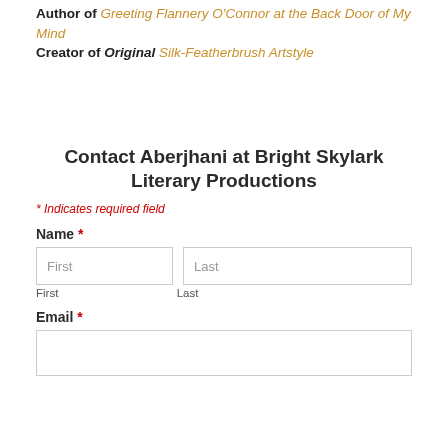Author of Greeting Flannery O'Connor at the Back Door of My Mind Creator of Original Silk-Featherbrush Artstyle
Contact Aberjhani at Bright Skylark Literary Productions
* Indicates required field
Name *
First
Last
Email *